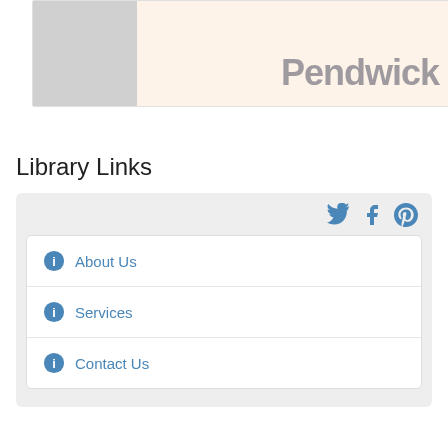[Figure (screenshot): Partial view of a book cover or image with blurred text reading 'Pendwick' or similar, with a gray left panel and warm beige right panel]
</> Embed
Library Links
About Us
Services
Contact Us